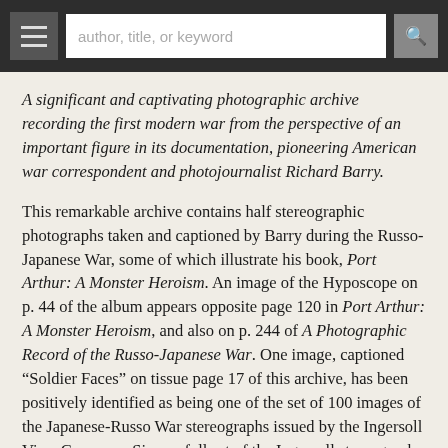author, title, or keyword [search bar with hamburger menu]
A significant and captivating photographic archive recording the first modern war from the perspective of an important figure in its documentation, pioneering American war correspondent and photojournalist Richard Barry.
This remarkable archive contains half stereographic photographs taken and captioned by Barry during the Russo-Japanese War, some of which illustrate his book, Port Arthur: A Monster Heroism. An image of the Hyposcope on p. 44 of the album appears opposite page 120 in Port Arthur: A Monster Heroism, and also on p. 244 of A Photographic Record of the Russo-Japanese War. One image, captioned “Soldier Faces” on tissue page 17 of this archive, has been positively identified as being one of the set of 100 images of the Japanese-Russo War stereographs issued by the Ingersoll View Company. Since a full set of the Ingersoll stereographs documenting the siege of Port Arthur could not be obtained, positive identification of the remaining stereographs in this archive as included in that set was